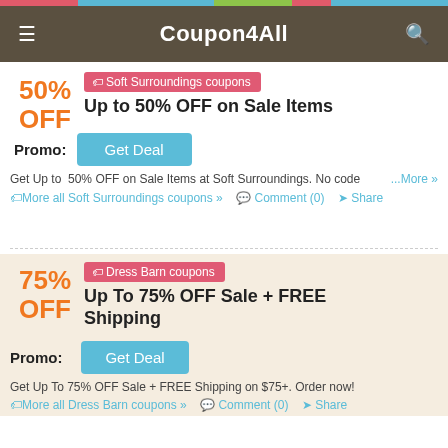Coupon4All
50% OFF
Soft Surroundings coupons
Up to 50% OFF on Sale Items
Promo:
Get Deal
Get Up to 50% OFF on Sale Items at Soft Surroundings. No code ...More »
More all Soft Surroundings coupons »   Comment (0)   Share
75% OFF
Dress Barn coupons
Up To 75% OFF Sale + FREE Shipping
Promo:
Get Deal
Get Up To 75% OFF Sale + FREE Shipping on $75+. Order now!
More all Dress Barn coupons »   Comment (0)   Share
10%
Wal G coupons